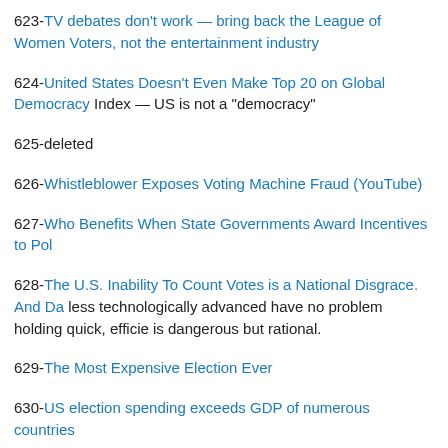623-TV debates don't work — bring back the League of Women Voters, not the entertainment industry
624-United States Doesn't Even Make Top 20 on Global Democracy Index — US is not a "democracy"
625-deleted
626-Whistleblower Exposes Voting Machine Fraud (YouTube)
627-Who Benefits When State Governments Award Incentives to Pol
628-The U.S. Inability To Count Votes is a National Disgrace. And Da... less technologically advanced have no problem holding quick, efficie... is dangerous but rational.
629-The Most Expensive Election Ever
630-US election spending exceeds GDP of numerous countries
631-Why California Should Learn from Maine and Not Alaska on Ele
632-The Big Lie is a Pillar of the State